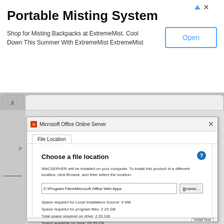[Figure (screenshot): Advertisement banner for Portable Misting System by ExtremeMist with Open button]
Portable Misting System
Shop for Misting Backpacks at ExtremeMist. Cool Down This Summer With ExtremeMist ExtremeMist
[Figure (screenshot): Microsoft Office Online Server installer dialog showing 'Choose a file location' with path C:\Program Files\Microsoft Office Web Apps, Browse button, and space requirements: Space required for Local Installation Source: 0 MB, Space required for program files: 2.23 GB, Total space required on drive: 2.33 GB, Space available on drive: 69.55 GB. Install Now button at bottom right.]
File Location
Choose a file location
WACSERVER will be installed on your computer. To install this product in a different location, click Browse, and then select the location.
C:\Program Files\Microsoft Office Web Apps
Space required for Local Installation Source: 0 MB
Space required for program files: 2.23 GB
Total space required on drive: 2.33 GB
Space available on drive: 69.55 GB